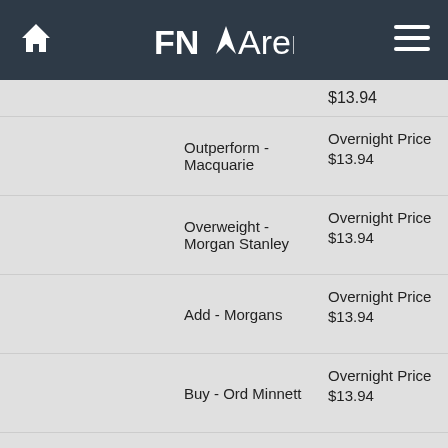FNArena
| Ticker | Name | Rating - Broker | Price |
| --- | --- | --- | --- |
|  |  |  | $13.94 |
|  |  | Outperform - Macquarie | Overnight Price $13.94 |
|  |  | Overweight - Morgan Stanley | Overnight Price $13.94 |
|  |  | Add - Morgans | Overnight Price $13.94 |
|  |  | Buy - Ord Minnett | Overnight Price $13.94 |
|  |  | Neutral - UBS | Overnight Price $13.94 |
| CCL | COCA-COLA AMATIL | Outperform - Macquarie | Overnight Price |